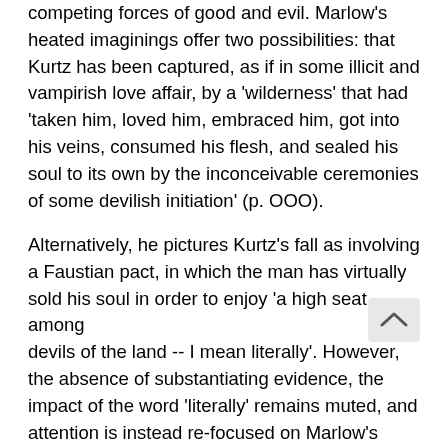competing forces of good and evil. Marlow's heated imaginings offer two possibilities: that Kurtz has been captured, as if in some illicit and vampirish love affair, by a 'wilderness' that had 'taken him, loved him, embraced him, got into his veins, consumed his flesh, and sealed his soul to its own by the inconceivable ceremonies of some devilish initiation' (p. OOO).
Alternatively, he pictures Kurtz's fall as involving a Faustian pact, in which the man has virtually sold his soul in order to enjoy 'a high seat among the devils of the land -- I mean literally'. However, the absence of substantiating evidence, the impact of the word 'literally' remains muted, and attention is instead re-focused on Marlow's horrified sense of the 'creepy': 'Everything belonged to him -- but that was a trifle. The thing was to know what he belonged to, how many